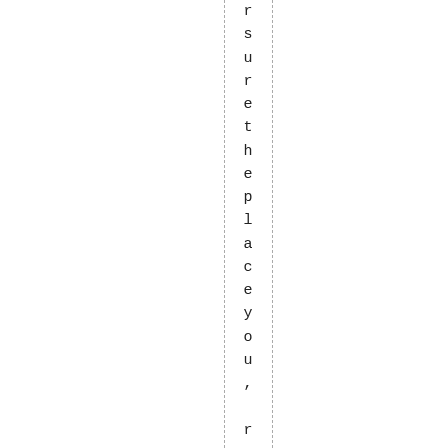r s u r e t h e p l a c e y o u ,  r e g e t t i n g y o u r